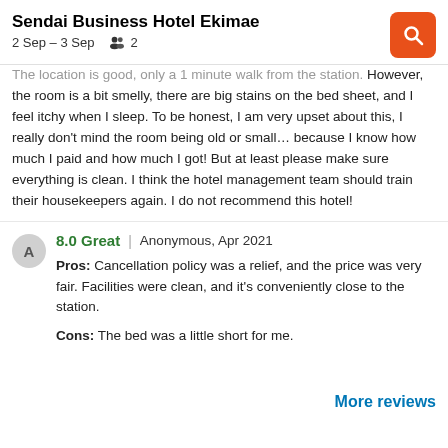Sendai Business Hotel Ekimae
2 Sep – 3 Sep   👥 2
The location is good, only a 1 minute walk from the station. However, the room is a bit smelly, there are big stains on the bed sheet, and I feel itchy when I sleep. To be honest, I am very upset about this, I really don't mind the room being old or small... because I know how much I paid and how much I got! But at least please make sure everything is clean. I think the hotel management team should train their housekeepers again. I do not recommend this hotel!
8.0 Great | Anonymous, Apr 2021
Pros: Cancellation policy was a relief, and the price was very fair. Facilities were clean, and it's conveniently close to the station.
Cons: The bed was a little short for me.
More reviews